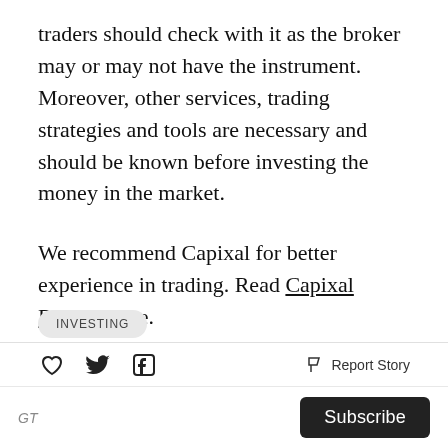traders should check with it as the broker may or may not have the instrument. Moreover, other services, trading strategies and tools are necessary and should be known before investing the money in the market.
We recommend Capixal for better experience in trading. Read Capixal Review here.
INVESTING
GT  Subscribe  Report Story